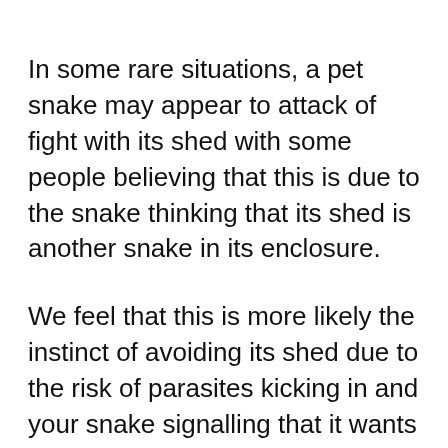In some rare situations, a pet snake may appear to attack of fight with its shed with some people believing that this is due to the snake thinking that its shed is another snake in its enclosure.
We feel that this is more likely the instinct of avoiding its shed due to the risk of parasites kicking in and your snake signalling that it wants to be as far away from its shed as possible even if there are no parasites present.